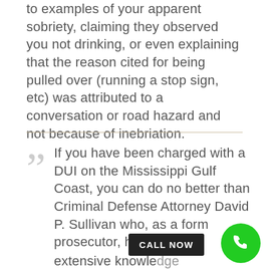to examples of your apparent sobriety, claiming they observed you not drinking, or even explaining that the reason cited for being pulled over (running a stop sign, etc) was attributed to a conversation or road hazard and not because of inebriation.
If you have been charged with a DUI on the Mississippi Gulf Coast, you can do no better than Criminal Defense Attorney David P. Sullivan who, as a former prosecutor, has extensive knowledge